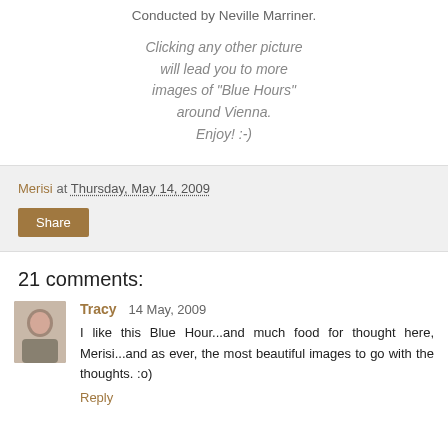Conducted by Neville Marriner.
Clicking any other picture will lead you to more images of "Blue Hours" around Vienna. Enjoy! :-)
Merisi at Thursday, May 14, 2009
Share
21 comments:
Tracy 14 May, 2009
I like this Blue Hour...and much food for thought here, Merisi...and as ever, the most beautiful images to go with the thoughts. :o)
Reply